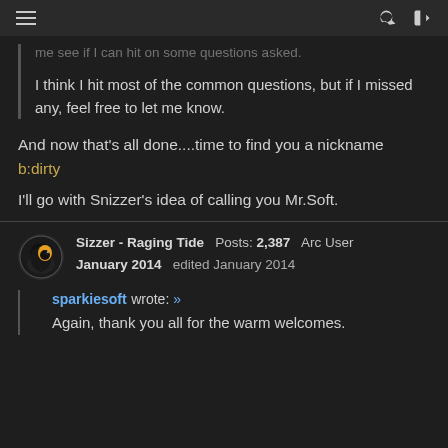navigation header with hamburger menu, search icon, login icon
me see if I can hit on some questions asked.
I think I hit most of the common questions, but if I missed any, feel free to let me know.
And now that's all done....time to find you a nickname b:dirty
I'll go with Snizzer's idea of calling you Mr.Soft.
Sizzer - Raging Tide  Posts: 2,387  Arc User
January 2014  edited January 2014
sparkiesoft wrote: »
Again, thank you all for the warm welcomes.